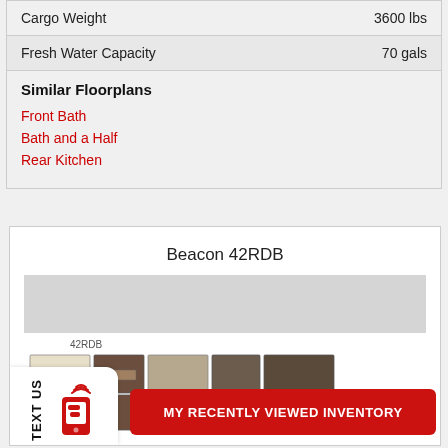|  |  |
| --- | --- |
| Cargo Weight | 3600 lbs |
| Fresh Water Capacity | 70 gals |
Similar Floorplans
Front Bath
Bath and a Half
Rear Kitchen
Beacon 42RDB
[Figure (illustration): Floorplan image of Beacon 42RDB model 42RDB showing room layout from above]
MY RECENTLY VIEWED INVENTORY